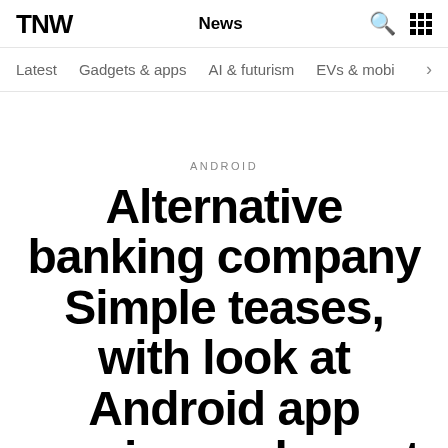TNW | News
Latest | Gadgets & apps | AI & futurism | EVs & mobi…
ANDROID
Alternative banking company Simple teases, with look at Android app coming early next year